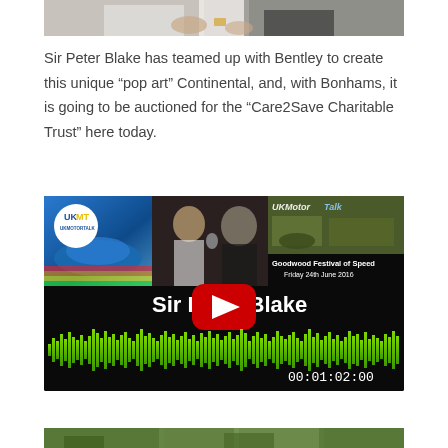[Figure (photo): Top portion of a cropped photo showing people, partially visible at top of page]
Sir Peter Blake has teamed up with Bentley to create this unique “pop art” Continental, and, with Bonhams, it is going to be auctioned for the “Care2Save Charitable Trust” here today.
[Figure (screenshot): YouTube video thumbnail/player for a UKMotorTalk interview with Sir Peter Blake at Goodwood Festival of Speed, Friday 24th June 2016. Shows UKMT logo, play button, audio waveform, and timestamp 00:01:02:00]
[Figure (photo): Bottom portion of a cropped photo showing outdoor scene, partially visible at bottom of page]